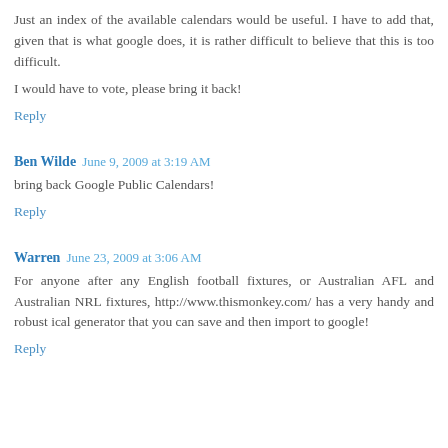Just an index of the available calendars would be useful. I have to add that, given that is what google does, it is rather difficult to believe that this is too difficult.
I would have to vote, please bring it back!
Reply
Ben Wilde  June 9, 2009 at 3:19 AM
bring back Google Public Calendars!
Reply
Warren  June 23, 2009 at 3:06 AM
For anyone after any English football fixtures, or Australian AFL and Australian NRL fixtures, http://www.thismonkey.com/ has a very handy and robust ical generator that you can save and then import to google!
Reply